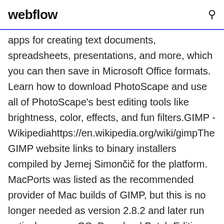webflow
apps for creating text documents, spreadsheets, presentations, and more, which you can then save in Microsoft Office formats. Learn how to download PhotoScape and use all of PhotoScape's best editing tools like brightness, color, effects, and fun filters.GIMP - Wikipediahttps://en.wikipedia.org/wiki/gimpThe GIMP website links to binary installers compiled by Jernej Simončič for the platform. MacPorts was listed as the recommended provider of Mac builds of GIMP, but this is no longer needed as version 2.8.2 and later run natively on macOS. Download Batch Editing . Free and safe download. Download the latest version of the top software, games, programs and apps in